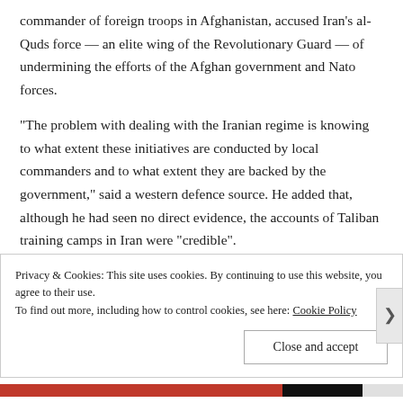commander of foreign troops in Afghanistan, accused Iran's al-Quds force — an elite wing of the Revolutionary Guard — of undermining the efforts of the Afghan government and Nato forces.
“The problem with dealing with the Iranian regime is knowing to what extent these initiatives are conducted by local commanders and to what extent they are backed by the government,” said a western defence source. He added that, although he had seen no direct evidence, the accounts of Taliban training camps in Iran were “credible”.
American officials believe Iran’s support for the Taliban has reached “troubling” proportions, although it is not on the same scale as its
Privacy & Cookies: This site uses cookies. By continuing to use this website, you agree to their use.
To find out more, including how to control cookies, see here: Cookie Policy